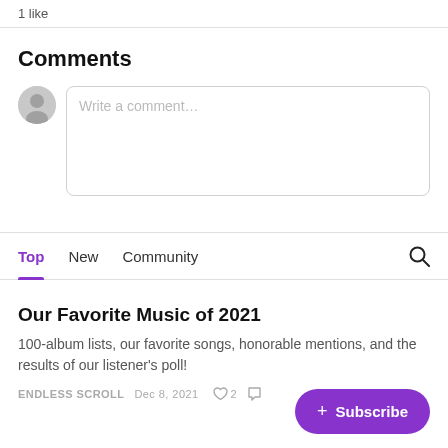1 like
Comments
Write a comment…
Top   New   Community
Our Favorite Music of 2021
100-album lists, our favorite songs, honorable mentions, and the results of our listener's poll!
ENDLESS SCROLL   DEC 8, 2021   ♡ 2